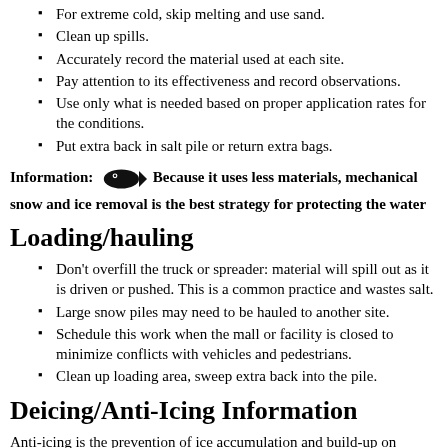Below 15°F, use a wetted salt.
For extreme cold, skip melting and use sand.
Clean up spills.
Accurately record the material used at each site.
Pay attention to its effectiveness and record observations.
Use only what is needed based on proper application rates for the conditions.
Put extra back in salt pile or return extra bags.
Information: [fish icon] Because it uses less materials, mechanical snow and ice removal is the best strategy for protecting the water
Loading/hauling
Don't overfill the truck or spreader: material will spill out as it is driven or pushed. This is a common practice and wastes salt.
Large snow piles may need to be hauled to another site.
Schedule this work when the mall or facility is closed to minimize conflicts with vehicles and pedestrians.
Clean up loading area, sweep extra back into the pile.
Deicing/Anti-Icing Information
Anti-icing is the prevention of ice accumulation and build-up on